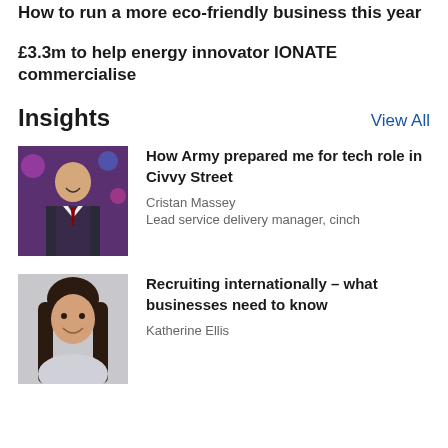How to run a more eco-friendly business this year
£3.3m to help energy innovator IONATE commercialise
Insights
View All
[Figure (photo): Young man in a waistcoat smiling at a party or event, with colorful lighting in background]
How Army prepared me for tech role in Civvy Street
Cristan Massey
Lead service delivery manager, cinch
[Figure (photo): Woman with long dark hair smiling, head and shoulders portrait against grey background]
Recruiting internationally – what businesses need to know
Katherine Ellis